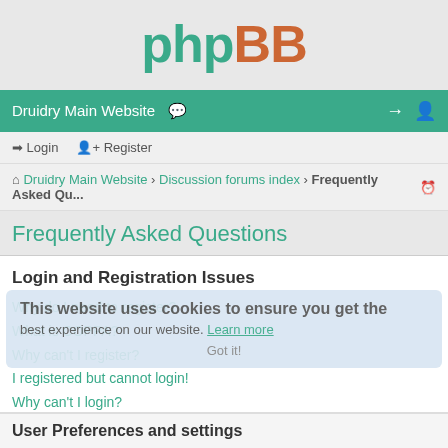[Figure (logo): phpBB logo with 'php' in teal/green and 'BB' in orange-brown]
Druidry Main Website
Login  •  Register
Druidry Main Website › Discussion forums index › Frequently Asked Qu...
Frequently Asked Questions
Login and Registration Issues
Why do I need to register?
What is COPPA?
Why can't I register?
I registered but cannot login!
Why can't I login?
I registered in the past but cannot login any more?!
I've lost my password!
Why do I get logged off automatically?
What does the "Delete cookies" do?
User Preferences and settings